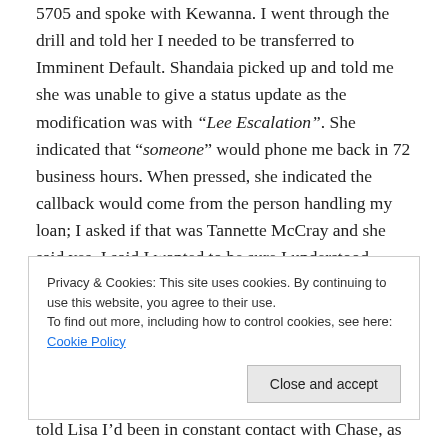5705 and spoke with Kewanna. I went through the drill and told her I needed to be transferred to Imminent Default. Shandaia picked up and told me she was unable to give a status update as the modification was with “Lee Escalation”. She indicated that “someone” would phone me back in 72 business hours. When pressed, she indicated the callback would come from the person handling my loan; I asked if that was Tannette McCray and she said yes. I said I wanted to be sure I understood correctly that Tannette McCray would call me back within
told Lisa I’d been in constant contact with Chase, as
Privacy & Cookies: This site uses cookies. By continuing to use this website, you agree to their use. To find out more, including how to control cookies, see here: Cookie Policy